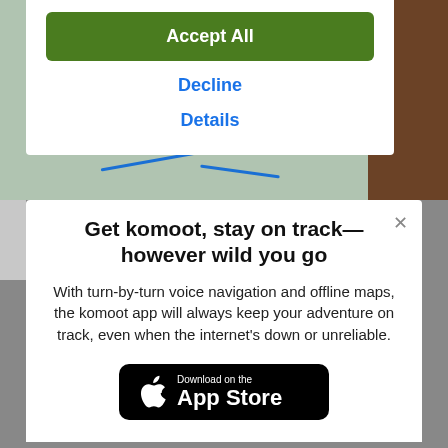[Figure (screenshot): Background map and photo behind modal dialogs]
Accept All
Decline
Details
Get komoot, stay on track—however wild you go
With turn-by-turn voice navigation and offline maps, the komoot app will always keep your adventure on track, even when the internet's down or unreliable.
[Figure (logo): Download on the App Store button (black rounded rectangle with Apple logo)]